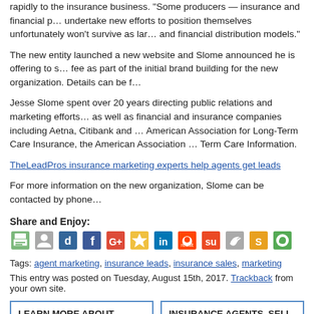rapidly to the insurance business. "Some producers — insurance and financial planners — who don't undertake new efforts to position themselves unfortunately won't survive as large companies revamp their sales and financial distribution models."
The new entity launched a new website and Slome announced he is offering to speak at meetings at no fee as part of the initial brand building for the new organization. Details can be found at ...
Jesse Slome spent over 20 years directing public relations and marketing efforts for a variety of companies as well as financial and insurance companies including Aetna, Citibank and others. He founded the American Association for Long-Term Care Insurance, the American Association for Medicare Supplement and Long-Term Care Information.
TheLeadPros insurance marketing experts help agents get leads
For more information on the new organization, Slome can be contacted by phone ...
Share and Enjoy:
[Figure (other): Social sharing icons including print, email, delicious, facebook, google, favorites, linkedin, reddit, stumbleupon, twitter, scribd, whatsapp]
Tags: agent marketing, insurance leads, insurance sales, marketing
This entry was posted on Tuesday, August 15th, 2017. Trackback from your own site.
LEARN MORE ABOUT LONG-TERM CARE INSURANCE PROTECTION. Get a free, no obligation quote for Long-Term ...
INSURANCE AGENTS. SELL MORE LONG-TERM CARE INSURANCE PROTECTION. Visit the Association's Online LTC ...